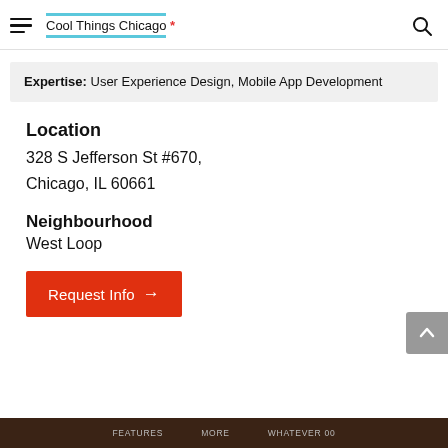Cool Things Chicago *
Expertise: User Experience Design, Mobile App Development
Location
328 S Jefferson St #670,
Chicago, IL 60661
Neighbourhood
West Loop
Request Info →